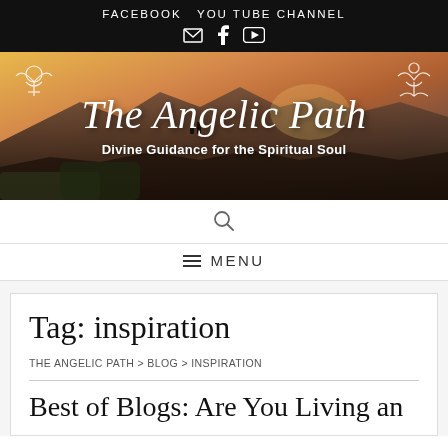FACEBOOK   YOU TUBE CHANNEL
[Figure (illustration): The Angelic Path website banner with golden sunset mountain landscape background, white italic cursive title 'The Angelic Path', subtitle 'Divine Guidance for the Spiritual Soul', angel wing icons top-left and top-right]
🔍
≡ MENU
Tag: inspiration
THE ANGELIC PATH > BLOG > INSPIRATION
Best of Blogs: Are You Living an